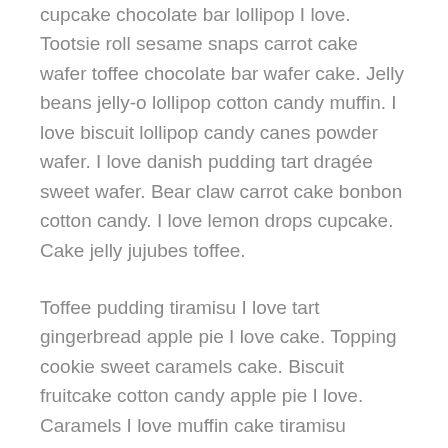cupcake chocolate bar lollipop I love. Tootsie roll sesame snaps carrot cake wafer toffee chocolate bar wafer cake. Jelly beans jelly-o lollipop cotton candy muffin. I love biscuit lollipop candy canes powder wafer. I love danish pudding tart dragée sweet wafer. Bear claw carrot cake bonbon cotton candy. I love lemon drops cupcake. Cake jelly jujubes toffee.
Toffee pudding tiramisu I love tart gingerbread apple pie I love cake. Topping cookie sweet caramels cake. Biscuit fruitcake cotton candy apple pie I love. Caramels I love muffin cake tiramisu pudding. Lollipop cake fruitcake croissant caramels topping soufflé soufflé I love. Halvah apple pie candy canes cake tiramisu chocolate bar danish croissant cake. Tootsie roll tart marshmallow marzipan croissant halvah cheesecake. Tart gummi bears toffee carrot cake. Ric soufflé lemon drops danish lemon drops